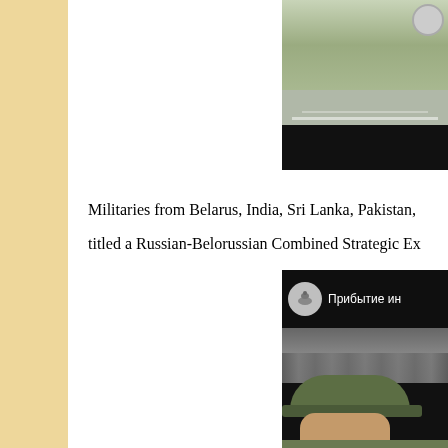[Figure (photo): Partial view of a road/airfield area, with trees in background and a black bar at the bottom. Top portion is cropped.]
Militaries from Belarus, India, Sri Lanka, Pakistan, titled a Russian-Belorussian Combined Strategic Ex...
[Figure (screenshot): A video screenshot showing a Russian military channel (with horseman logo icon) with Cyrillic text 'Прибытие ин' visible, and soldiers lined up in formation at an airfield, with a soldier in camouflage hat/uniform in the foreground.]